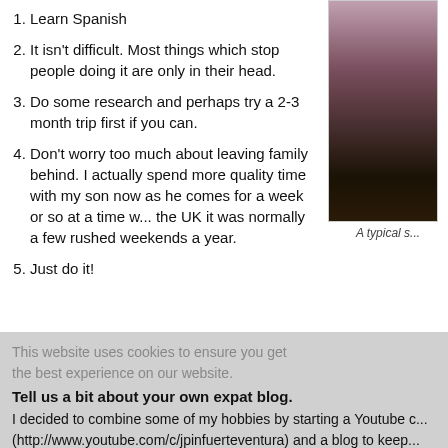1. Learn Spanish
2. It isn't difficult. Most things which stop people doing it are only in their head.
3. Do some research and perhaps try a 2-3 month trip first if you can.
4. Don't worry too much about leaving family behind. I actually spend more quality time with my son now as he comes for a week or so at a time w... the UK it was normally a few rushed weekends a year.
5. Just do it!
[Figure (photo): A typical sunset or twilight landscape photo with dark silhouetted trees against a pink/purple sky]
A typical s...
This website uses cookies to ensure you get the best experience on our website.
Tell us a bit about your own expat blog.
I decided to combine some of my hobbies by starting a Youtube c... (http://www.youtube.com/c/jpinfuerteventura) and a blog to keep... to show the island, and the way of life here, both good and bad.
How can you be contacted for further advice to future expats?
My website